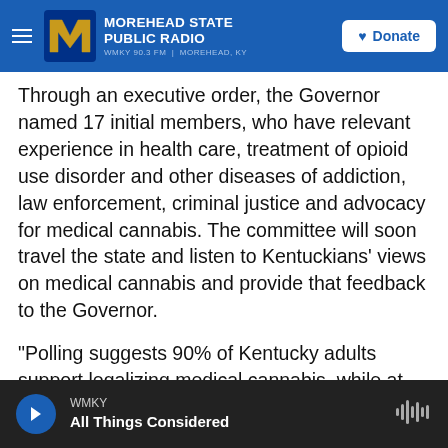MOREHEAD STATE PUBLIC RADIO WMKY 90.3 FM | MOREHEAD, KY
Through an executive order, the Governor named 17 initial members, who have relevant experience in health care, treatment of opioid use disorder and other diseases of addiction, law enforcement, criminal justice and advocacy for medical cannabis. The committee will soon travel the state and listen to Kentuckians' views on medical cannabis and provide that feedback to the Governor.
“Polling suggests 90% of Kentucky adults support legalizing medical cannabis, while at the same time, far too many in our state who could benefit from it are suffering. It is simply time that
WMKY
All Things Considered